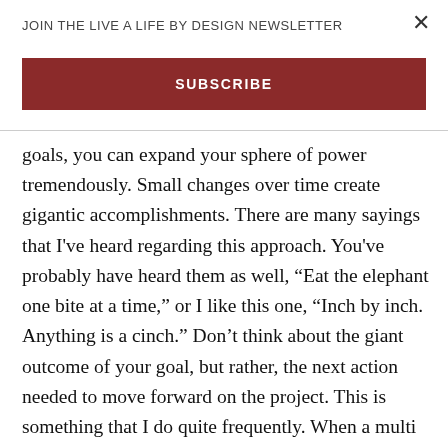JOIN THE LIVE A LIFE BY DESIGN NEWSLETTER
SUBSCRIBE
goals, you can expand your sphere of power tremendously. Small changes over time create gigantic accomplishments. There are many sayings that I've heard regarding this approach. You've probably have heard them as well, “Eat the elephant one bite at a time,” or I like this one, “Inch by inch. Anything is a cinch.” Don’t think about the giant outcome of your goal, but rather, the next action needed to move forward on the project. This is something that I do quite frequently. When a multi hour or, goodness,